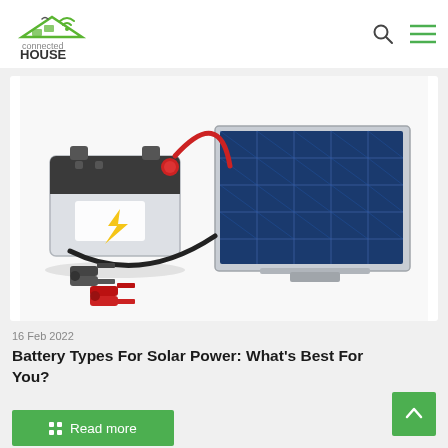connected HOUSE
[Figure (photo): A car battery connected by red and black jumper cables/clamps to a blue solar panel, on a white background]
16 Feb 2022
Battery Types For Solar Power: What's Best For You?
Read more